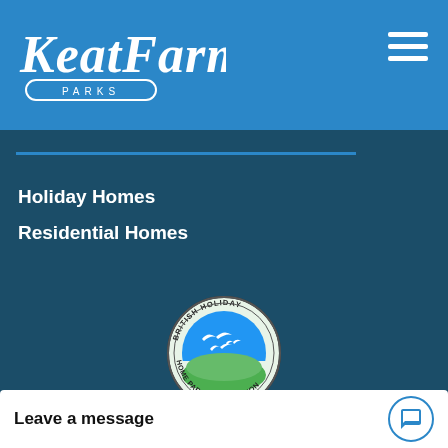[Figure (logo): Keat Farm Parks logo in white italic script with PARKS text in a rounded rectangle border below]
[Figure (other): Hamburger menu icon with three white horizontal lines]
Holiday Homes
Residential Homes
[Figure (logo): British Holiday Home Parks Association circular badge logo with seagulls and green/blue landscape]
[Figure (logo): Partially visible badge/award logo at bottom]
Leave a message